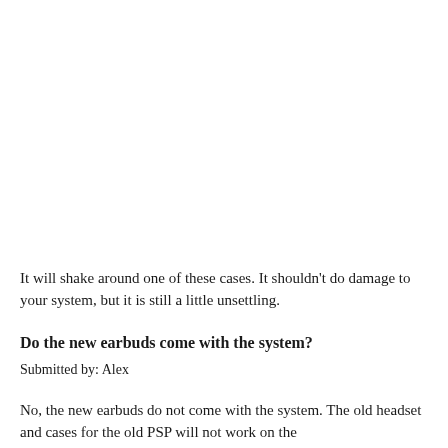It will shake around one of these cases. It shouldn't do damage to your system, but it is still a little unsettling.
Do the new earbuds come with the system?
Submitted by: Alex
No, the new earbuds do not come with the system. The old headset and cases for the old PSP will not work on the...